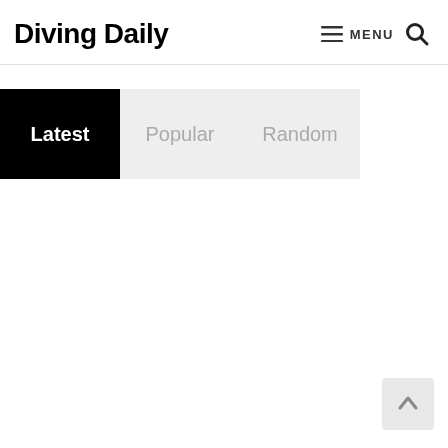Diving Daily  ≡ MENU 🔍
Latest | Popular | Random